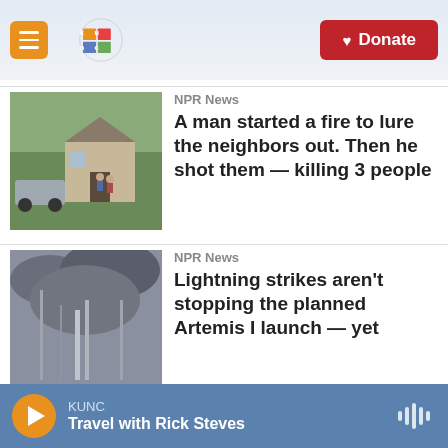KUNC | Donate
NPR News
A man started a fire to lure the neighbors out. Then he shot them — killing 3 people
NPR News
Lightning strikes aren't stopping the planned Artemis I launch — yet
NPR News
A Mickey Mantle baseball card is...
KUNC | Travel with Rick Steves